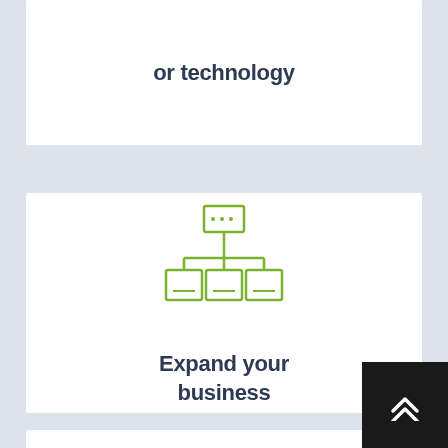or technology
[Figure (illustration): Organizational chart / network hierarchy icon in olive green outline style showing a top node connected to three child nodes below]
Expand your business
[Figure (illustration): Clipboard with checklist, pie chart, and pen icon in olive green outline style]